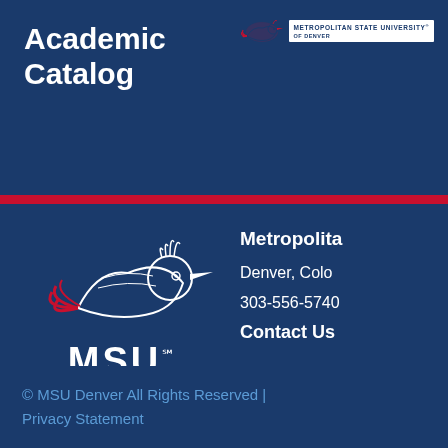Academic Catalog
[Figure (logo): MSU Denver roadrunner bird logo small with Metropolitan State University of Denver text]
[Figure (logo): Large MSU Denver roadrunner mascot logo with MSU DENVER text]
Metropolitan
Denver, Colo
303-556-5740
Contact Us
© MSU Denver All Rights Reserved | Privacy Statement